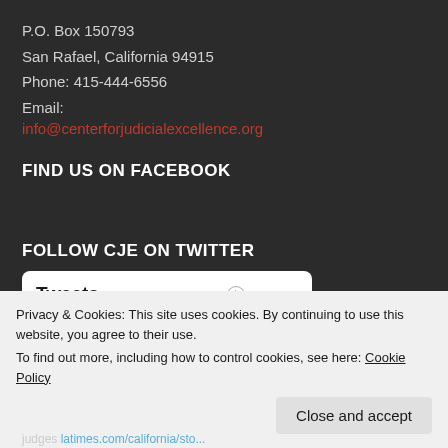P.O. Box 150793
San Rafael, California 94915
Phone: 415-444-6556
Email:
info@centerforjudicialexcellence.org
FIND US ON FACEBOOK
FOLLOW CJE ON TWITTER
[Figure (screenshot): Tweets widget by @JudicialCenter with an info icon]
Privacy & Cookies: This site uses cookies. By continuing to use this website, you agree to their use.
To find out more, including how to control cookies, see here: Cookie Policy
Close and accept
judges latimes.com/california/sto...